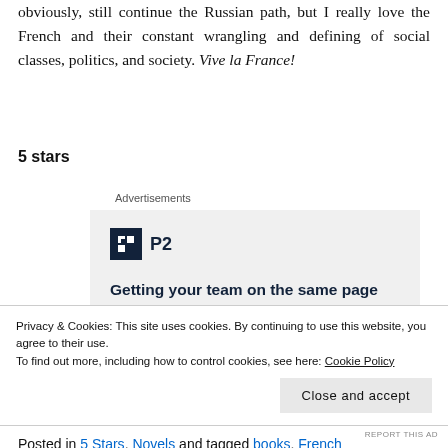obviously, still continue the Russian path, but I really love the French and their constant wrangling and defining of social classes, politics, and society. Vive la France!
5 stars
Advertisements
[Figure (other): Advertisement for P2 collaboration tool. Shows the P2 logo (a black square with white grid icon and 'P2' text) and the headline 'Getting your team on the same page is easy. And free.']
Privacy & Cookies: This site uses cookies. By continuing to use this website, you agree to their use. To find out more, including how to control cookies, see here: Cookie Policy
Close and accept
REPORT THIS AD
Posted in 5 Stars, Novels and tagged books, French